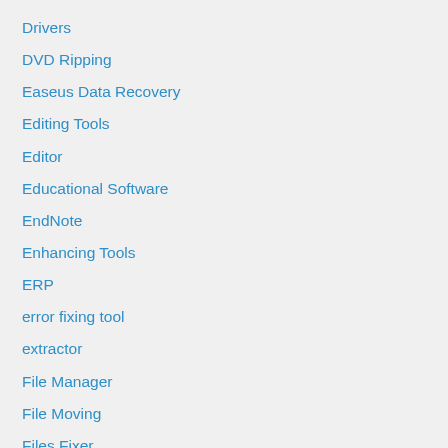Drivers
DVD Ripping
Easeus Data Recovery
Editing Tools
Editor
Educational Software
EndNote
Enhancing Tools
ERP
error fixing tool
extractor
File Manager
File Moving
Files Fixer
filtering devices